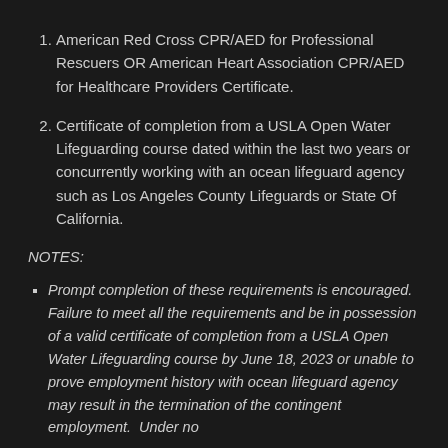American Red Cross CPR/AED for Professional Rescuers OR American Heart Association CPR/AED for Healthcare Providers Certificate.
Certificate of completion from a USLA Open Water Lifeguarding course dated within the last two years or concurrently working with an ocean lifeguard agency such as Los Angeles County Lifeguards or State Of California.
NOTES:
Prompt completion of these requirements is encouraged. Failure to meet all the requirements and be in possession of a valid certificate of completion from a USLA Open Water Lifeguarding course by June 18, 2023 or unable to prove employment history with ocean lifeguard agency may result in the termination of the contingent employment.  Under no